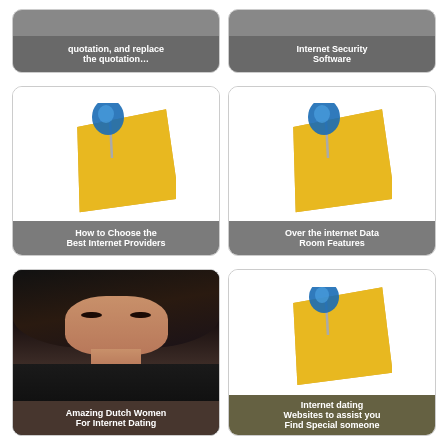[Figure (screenshot): Partially visible card with text label 'quotation, and replace the quotation...' on dark background]
[Figure (screenshot): Partially visible card with text label 'Internet Security Software' on dark background]
[Figure (illustration): Card with sticky note and pushpin illustration, label: 'How to Choose the Best Internet Providers']
[Figure (illustration): Card with sticky note and pushpin illustration, label: 'Over the internet Data Room Features']
[Figure (photo): Card with photo of woman with dark hair, label: 'Amazing Dutch Women For Internet Dating']
[Figure (illustration): Card with sticky note and pushpin illustration, label: 'Internet dating Websites to assist you Find Special someone']